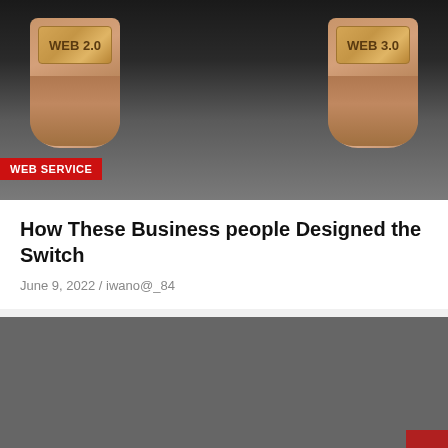[Figure (photo): Two hands holding wooden blocks labeled WEB 2.0 and WEB 3.0 against a dark background]
WEB SERVICE
How These Business people Designed the Switch
June 9, 2022 / iwano@_84
[Figure (photo): Dark gray image placeholder for a second article with a red scroll button and red bar at bottom]